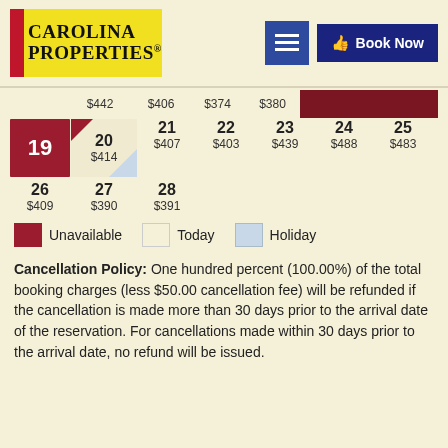[Figure (logo): Carolina Properties logo with yellow background and red accent]
[Figure (other): Blue menu/hamburger icon button]
[Figure (other): Book Now button in dark navy blue]
|  | $442 | $406 | $374 | $380 |  |  |
| 19 | 20
$414 | 21
$407 | 22
$403 | 23
$439 | 24
$488 | 25
$483 |
| 26
$409 | 27
$390 | 28
$391 |  |  |  |  |
Unavailable
Today
Holiday
Cancellation Policy: One hundred percent (100.00%) of the total booking charges (less $50.00 cancellation fee) will be refunded if the cancellation is made more than 30 days prior to the arrival date of the reservation. For cancellations made within 30 days prior to the arrival date, no refund will be issued.